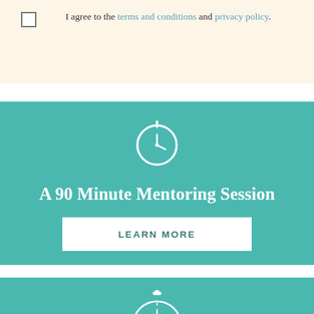I agree to the terms and conditions and privacy policy.
[Figure (illustration): Clock/timer icon in white on teal background]
A 90 Minute Mentoring Session
LEARN MORE
[Figure (illustration): Stopwatch/compass icon in white on teal background, partially visible]